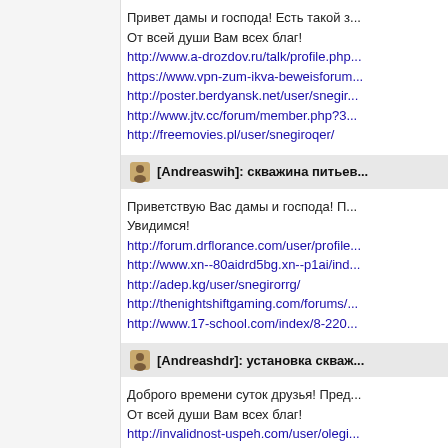Привет дамы и господа! Есть такой з...
От всей души Вам всех благ!
http://www.a-drozdov.ru/talk/profile.php...
https://www.vpn-zum-ikva-beweisforum...
http://poster.berdyansk.net/user/snegir...
http://www.jtv.cc/forum/member.php?3...
http://freemovies.pl/user/snegiroqer/
[Andreaswih]: скважина питьев...
Приветствую Вас дамы и господа! П...
Увидимся!
http://forum.drflorance.com/user/profile...
http://www.xn--80aidrd5bg.xn--p1ai/ind...
http://adep.kg/user/snegirorrg/
http://thenightshiftgaming.com/forums/...
http://www.17-school.com/index/8-220...
[Andreashdr]: установка скваж...
Доброго времени суток друзья! Пред...
От всей души Вам всех благ!
http://invalidnost-uspeh.com/user/olegi...
http://www.allmachinesales.com/autho...
http://jahandigital.ir/user/snegiropzz/